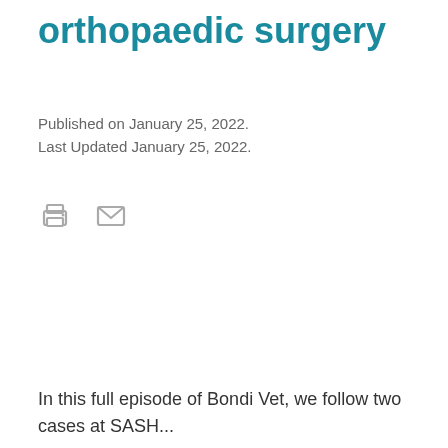orthopaedic surgery
Published on January 25, 2022.
Last Updated January 25, 2022.
[Figure (illustration): Print icon (printer) and email icon (envelope) in grey, used as action buttons]
In this full episode of Bondi Vet, we follow two cases at SASH...